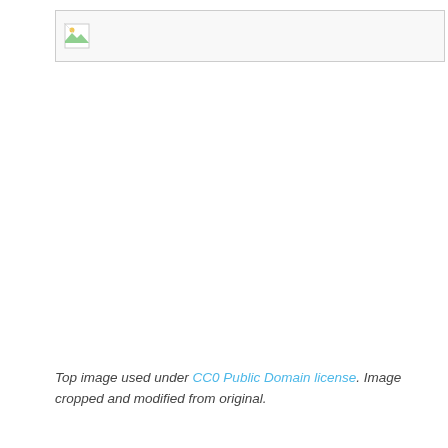[Figure (photo): Broken image placeholder with small icon in top-left area, bordered box]
Top image used under CC0 Public Domain license. Image cropped and modified from original.